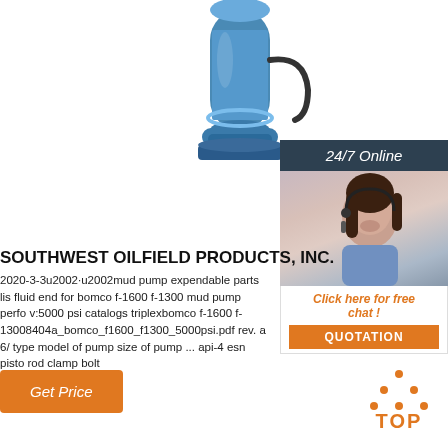[Figure (photo): Blue cylindrical industrial pump (mud pump) product photo against white background]
[Figure (photo): Customer service chat widget: dark header '24/7 Online', photo of smiling woman with headset, 'Click here for free chat!' link, orange QUOTATION button]
SOUTHWEST OILFIELD PRODUCTS, INC.
2020-3-3u2002·u2002mud pump expendable parts lis fluid end for bomco f-1600 f-1300 mud pump perfo v:5000 psi catalogs triplexbomco f-1600 f-13008404a_bomco_f1600_f1300_5000psi.pdf rev. a 6/ type model of pump size of pump ... api-4 esn pisto rod clamp bolt
[Figure (other): Orange 'Get Price' button]
[Figure (logo): Orange dot-triangle TOP logo with text 'TOP']